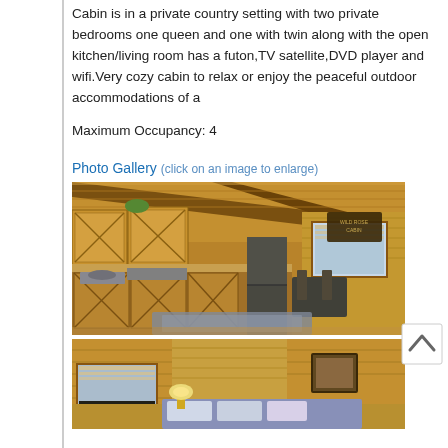Cabin is in a private country setting with two private bedrooms one queen and one with twin along with the open kitchen/living room has a futon,TV satellite,DVD player and wifi.Very cozy cabin to relax or enjoy the peaceful outdoor accommodations of a
Maximum Occupancy: 4
Photo Gallery (click on an image to enlarge)
[Figure (photo): Interior of a wooden cabin showing kitchen with pine wood cabinets, sink, countertops, stainless steel refrigerator, dining area with stools, window with blinds, and vaulted wood ceiling with exposed beams.]
[Figure (photo): Interior of a wooden cabin bedroom/living area showing pine wood walls and ceiling, window with blinds, framed artwork, lamp, and bed with pillows.]